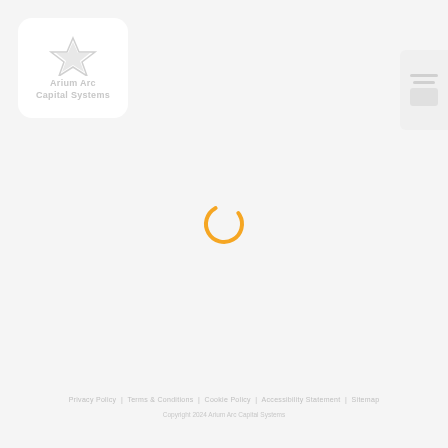[Figure (logo): Company logo with stylized icon and text reading 'Arium Arc Capital']
[Figure (other): Navigation panel with hamburger menu lines and a button]
[Figure (other): Orange circular loading spinner animation indicator]
Privacy Policy | Terms & Conditions | Cookie Policy | Accessibility Statement | Sitemap
Copyright 2024 Arium Arc Capital Systems